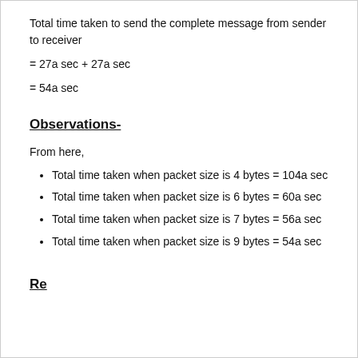Total time taken to send the complete message from sender to receiver
Observations-
From here,
Total time taken when packet size is 4 bytes = 104a sec
Total time taken when packet size is 6 bytes = 60a sec
Total time taken when packet size is 7 bytes = 56a sec
Total time taken when packet size is 9 bytes = 54a sec
Result-